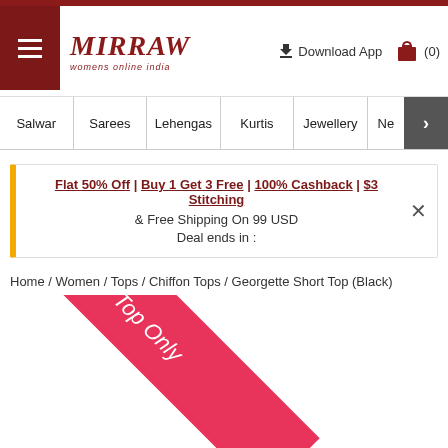[Figure (screenshot): Mirraw website header with hamburger menu, logo, Download App link, and shopping bag icon showing (0)]
Salwar | Sarees | Lehengas | Kurtis | Jewellery | Ne >
Flat 50% Off | Buy 1 Get 3 Free | 100% Cashback | $3 Stitching & Free Shipping On 99 USD Deal ends in :
Home / Women / Tops / Chiffon Tops / Georgette Short Top (Black)
[Figure (illustration): Pink/red diagonal ribbon banner with text 'Top Only']